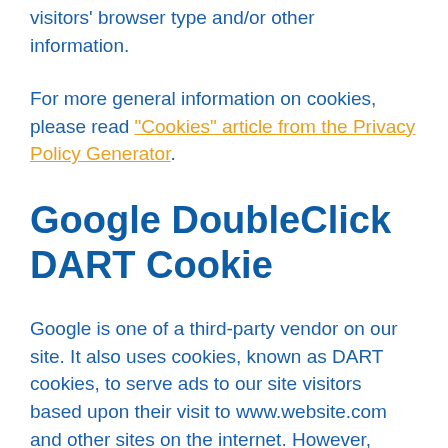visitors' browser type and/or other information.
For more general information on cookies, please read "Cookies" article from the Privacy Policy Generator.
Google DoubleClick DART Cookie
Google is one of a third-party vendor on our site. It also uses cookies, known as DART cookies, to serve ads to our site visitors based upon their visit to www.website.com and other sites on the internet. However, visitors may choose to decline the use of